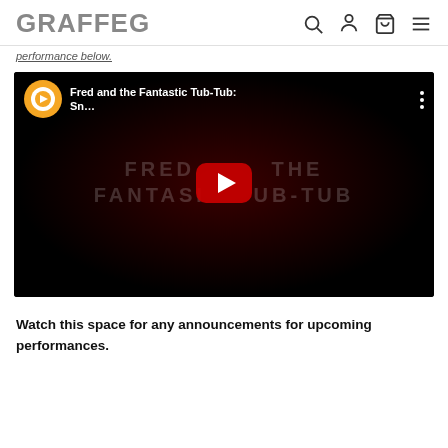GRAFFEG
performance below.
[Figure (screenshot): YouTube video thumbnail for 'Fred and the Fantastic Tub-Tub: Sn...' with YouTube player overlay showing play button. Background is dark/black with watermark text 'FRED AND THE FANTASTIC TUB-TUB'.]
Watch this space for any announcements for upcoming performances.